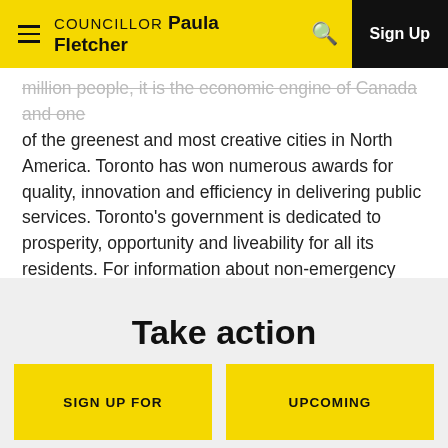COUNCILLOR Paula Fletcher | Sign Up
million people, it is the economic engine of Canada and one of the greenest and most creative cities in North America. Toronto has won numerous awards for quality, innovation and efficiency in delivering public services. Toronto's government is dedicated to prosperity, opportunity and liveability for all its residents. For information about non-emergency City services and programs, Toronto residents, businesses and visitors can dial 311, 24 hours a day, 7 days a week.
Take action
SIGN UP FOR
UPCOMING